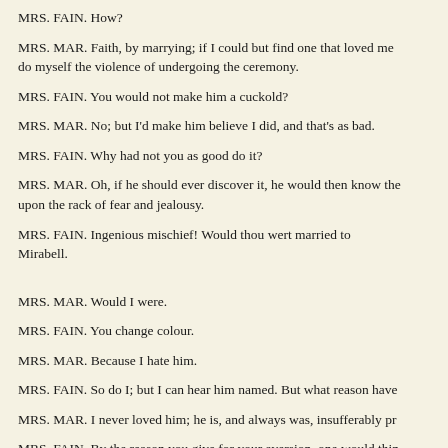MRS. FAIN. How?
MRS. MAR. Faith, by marrying; if I could but find one that loved me I do myself the violence of undergoing the ceremony.
MRS. FAIN. You would not make him a cuckold?
MRS. MAR. No; but I'd make him believe I did, and that's as bad.
MRS. FAIN. Why had not you as good do it?
MRS. MAR. Oh, if he should ever discover it, he would then know the upon the rack of fear and jealousy.
MRS. FAIN. Ingenious mischief! Would thou wert married to Mirabell.
MRS. MAR. Would I were.
MRS. FAIN. You change colour.
MRS. MAR. Because I hate him.
MRS. FAIN. So do I; but I can hear him named. But what reason have
MRS. MAR. I never loved him; he is, and always was, insufferably pr
MRS. FAIN. By the reason you give for your aversion, one would thin